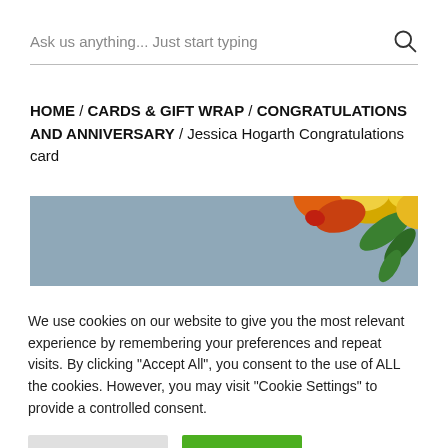Ask us anything... Just start typing
HOME / CARDS & GIFT WRAP / CONGRATULATIONS AND ANNIVERSARY / Jessica Hogarth Congratulations card
[Figure (photo): Partial view of a greeting card showing yellow and red flowers on a grey-blue background]
We use cookies on our website to give you the most relevant experience by remembering your preferences and repeat visits. By clicking "Accept All", you consent to the use of ALL the cookies. However, you may visit "Cookie Settings" to provide a controlled consent.
Cookie Settings
Accept All